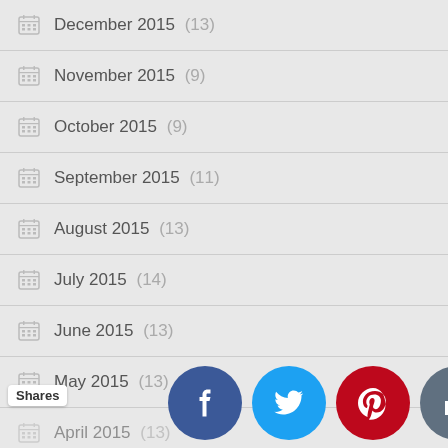December 2015 (13)
November 2015 (9)
October 2015 (9)
September 2015 (11)
August 2015 (13)
July 2015 (14)
June 2015 (13)
May 2015 (13)
April 2015 (13)
March 20... (2)
[Figure (infographic): Social sharing bar with Shares label and icons for Facebook, Twitter, Pinterest, Like, and Crown/bookmark buttons]